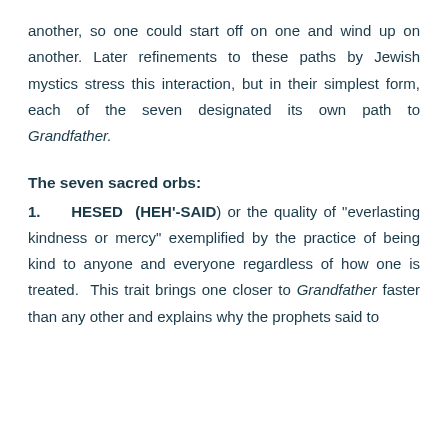another, so one could start off on one and wind up on another. Later refinements to these paths by Jewish mystics stress this interaction, but in their simplest form, each of the seven designated its own path to Grandfather.
The seven sacred orbs:
1.    HESED (HEH'-SAID) or the quality of "everlasting kindness or mercy" exemplified by the practice of being kind to anyone and everyone regardless of how one is treated.  This trait brings one closer to Grandfather faster than any other and explains why the prophets said to